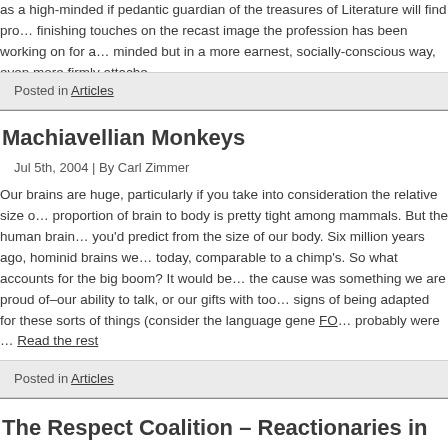as a high-minded if pedantic guardian of the treasures of Literature will find pro... finishing touches on the recast image the profession has been working on for a... minded but in a more earnest, socially-conscious way, even more firmly attache...
Posted in Articles
Machiavellian Monkeys
Jul 5th, 2004 | By Carl Zimmer
Our brains are huge, particularly if you take into consideration the relative size o... proportion of brain to body is pretty tight among mammals. But the human brain... you'd predict from the size of our body. Six million years ago, hominid brains we... today, comparable to a chimp's. So what accounts for the big boom? It would be... the cause was something we are proud of–our ability to talk, or our gifts with too... signs of being adapted for these sorts of things (consider the language gene FO... probably were … Read the rest
Posted in Articles
The Respect Coalition – Reactionaries in Progressive Clothing
Jun 26th, 2004 | By Phil Doré